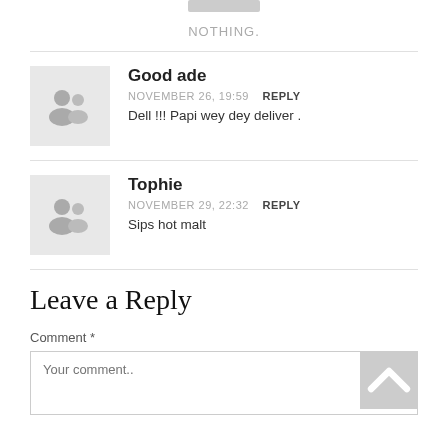[Figure (other): Top image stub bar (gray rectangle)]
NOTHING.
Good ade
NOVEMBER 26, 19:59   REPLY
Dell !!! Papi wey dey deliver .
Tophie
NOVEMBER 29, 22:32   REPLY
Sips hot malt
Leave a Reply
Comment *
Your comment..